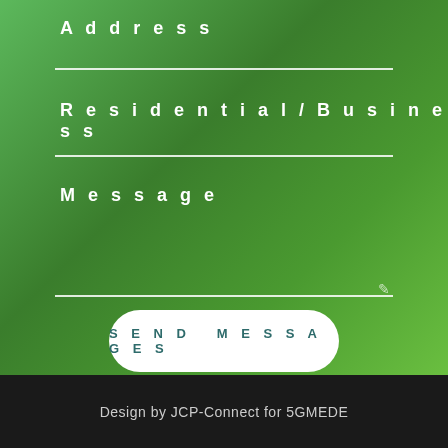Address
Residential/Business
Message
SEND MESSAGES
Design by JCP-Connect for 5GMEDE